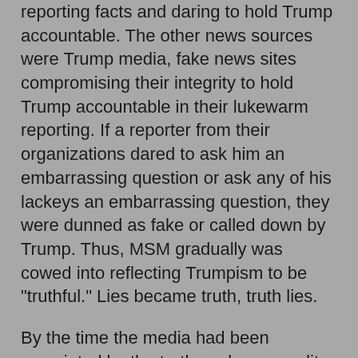reporting facts and daring to hold Trump accountable. The other news sources were Trump media, fake news sites compromising their integrity to hold Trump accountable in their lukewarm reporting. If a reporter from their organizations dared to ask him an embarrassing question or ask any of his lackeys an embarrassing question, they were dunned as fake or called down by Trump. Thus, MSM gradually was cowed into reflecting Trumpism to be "truthful." Lies became truth, truth lies.
By the time the media had been excoriated by the truth seekers, pundits, journalism professors etc., they woke up. It was too late. Meanwhile, the media truth seekers, fueled by comedy shows, i.e. The Colbert Report, SNL, Bill Maher, etc. showed camera clips and repeated Trump's outrageous gaffs (numbering by now in the hundreds if you count his tweets) and 20,000 lies fact checking them. Trump responded and eventually there was no one to head up the WH Press while Trump's fake news operation in tandem with MSM fake news soldiered on.
Trump's Under-reported Outlandishness Connecting